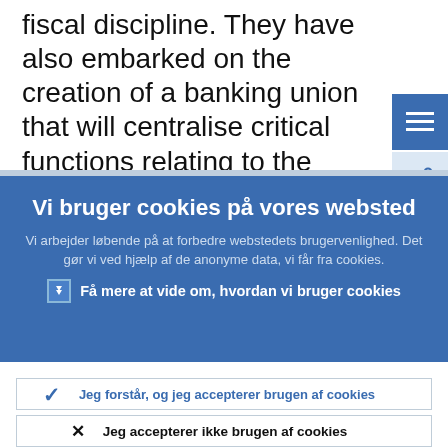fiscal discipline. They have also embarked on the creation of a banking union that will centralise critical functions relating to the banking sector at the European level, thereby severing the direct link between
Vi bruger cookies på vores websted
Vi arbejder løbende på at forbedre webstedets brugervenlighed. Det gør vi ved hjælp af de anonyme data, vi får fra cookies.
› Få mere at vide om, hvordan vi bruger cookies
✓ Jeg forstår, og jeg accepterer brugen af cookies
✕ Jeg accepterer ikke brugen af cookies